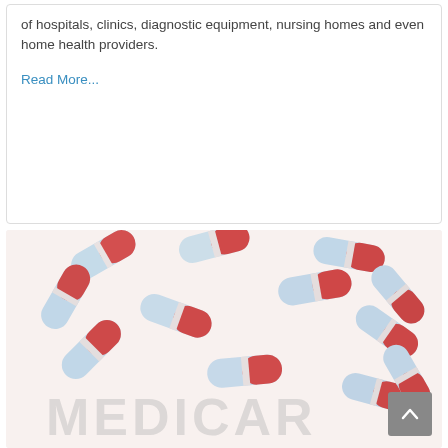of hospitals, clinics, diagnostic equipment, nursing homes and even home health providers.
Read More...
[Figure (photo): Photo of red and blue capsule pills scattered on a white surface, with the word MEDICARE partially visible in large light gray text at the bottom of the image.]